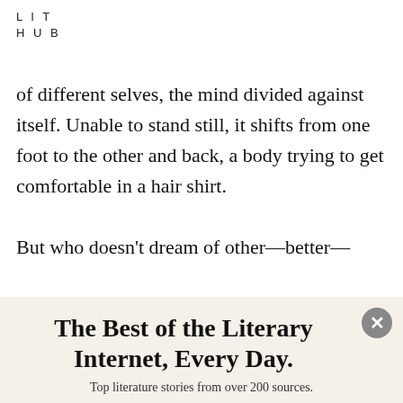LIT HUB
of different selves, the mind divided against itself. Unable to stand still, it shifts from one foot to the other and back, a body trying to get comfortable in a hair shirt.

But who doesn't dream of other—better—
[Figure (screenshot): Newsletter subscription popup overlay with cream/beige background. Contains bold serif title 'The Best of the Literary Internet, Every Day.', subtitle 'Top literature stories from over 200 sources.', an email input field, and a dark red SUBSCRIBE button. A grey close (X) button appears in top right corner.]